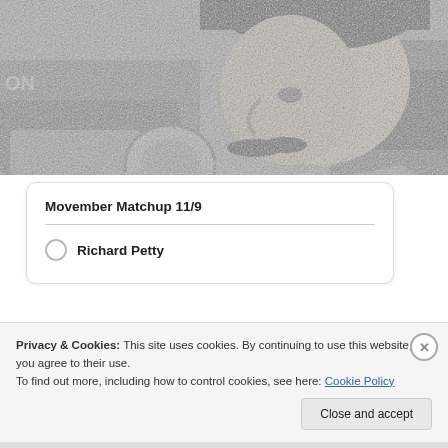[Figure (photo): Black and white close-up photograph of a man with a mustache near racing cars.]
Movember Matchup 11/9
Richard Petty
Privacy & Cookies: This site uses cookies. By continuing to use this website, you agree to their use.
To find out more, including how to control cookies, see here: Cookie Policy
Close and accept